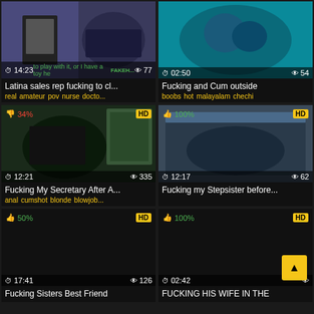[Figure (screenshot): Video thumbnail grid - adult video website layout with 6 video cards in 2 columns]
Latina sales rep fucking to cl...
real amateur pov nurse docto...
Fucking and Cum outside
boobs hot malayalam chechi
Fucking My Secretary After A...
anal cumshot blonde blowjob...
Fucking my Stepsister before...
Fucking Sisters Best Friend
FUCKING HIS WIFE IN THE